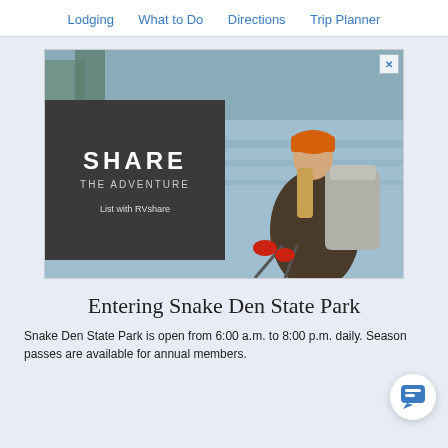Lodging   What to Do   Directions   Trip Planner
[Figure (photo): Advertisement showing a woman hiker with a large backpack and orange beanie hat standing near a lake, with text overlay: SHARE THE ADVENTURE - List with RVshare]
Entering Snake Den State Park
Snake Den State Park is open from 6:00 a.m. to 8:00 p.m. daily. Season passes are available for annual members.